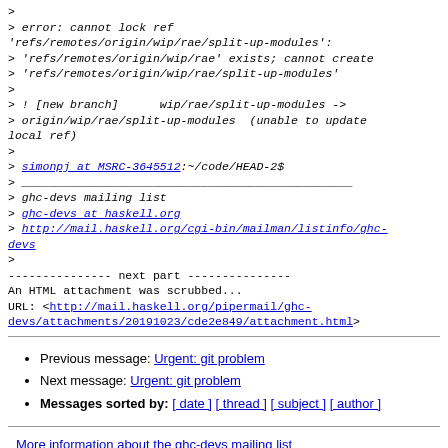> 
> error: cannot lock ref 'refs/remotes/origin/wip/rae/split-up-modules':
> 'refs/remotes/origin/wip/rae' exists; cannot create
> 'refs/remotes/origin/wip/rae/split-up-modules'
>
> ! [new branch]      wip/rae/split-up-modules ->
> origin/wip/rae/split-up-modules  (unable to update local ref)
>
> simonpj at MSRC-3645512:~/code/HEAD-2$
> ________________________________________________
> ghc-devs mailing list
> ghc-devs at haskell.org
> http://mail.haskell.org/cgi-bin/mailman/listinfo/ghc-devs
>
--------------- next part ---------------
An HTML attachment was scrubbed...
URL: <http://mail.haskell.org/pipermail/ghc-devs/attachments/20191023/cde2e849/attachment.html>
Previous message: Urgent: git problem
Next message: Urgent: git problem
Messages sorted by: [ date ] [ thread ] [ subject ] [ author ]
More information about the ghc-devs mailing list